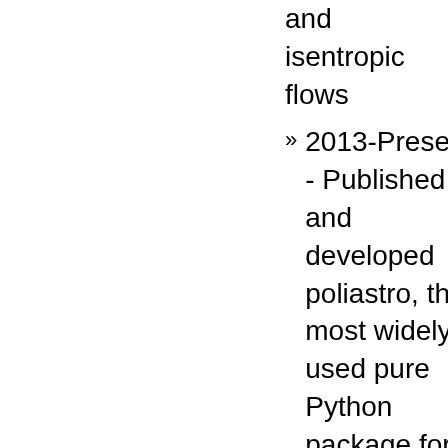and isentropic flows
2013-Present - Published and developed poliastro, the most widely used pure Python package for Astrodynamics and Orbital Mechanics, which has been used to prepare undergraduate courses in at least one university outside Spain and has received direct funding from the European Space Agency
2013 - Helped organize the first PyCon in Spain, with around 300